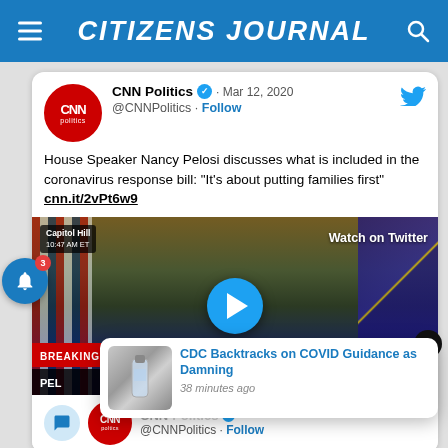CITIZENS JOURNAL
[Figure (screenshot): Embedded CNN Politics tweet from Mar 12, 2020 by @CNNPolitics showing a video thumbnail of Nancy Pelosi at Capitol Hill press conference with 'Watch on Twitter' overlay and play button. Tweet text: House Speaker Nancy Pelosi discusses what is included in the coronavirus response bill: "It's about putting families first" cnn.it/2vPt6w9. Breaking News bar visible.]
CNN Politics · Mar 12, 2020
@CNNPolitics · Follow
House Speaker Nancy Pelosi discusses what is included in the coronavirus response bill: "It's about putting families first" cnn.it/2vPt6w9
[Figure (screenshot): Notification popup: CDC Backtracks on COVID Guidance as Damning - 38 minutes ago]
CDC Backtracks on COVID Guidance as Damning
38 minutes ago
CNN Politics @CNNPolitics · Follow